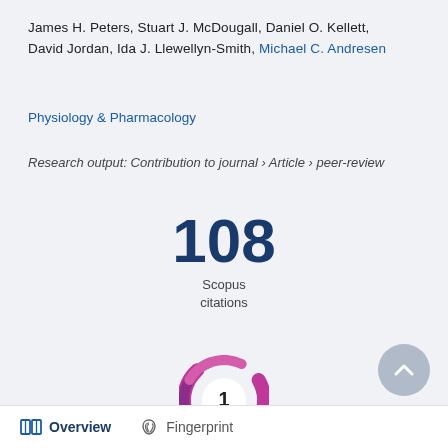James H. Peters, Stuart J. McDougall, Daniel O. Kellett, David Jordan, Ida J. Llewellyn-Smith, Michael C. Andresen
Physiology & Pharmacology
Research output: Contribution to journal › Article › peer-review
[Figure (infographic): Scopus citations count badge showing 108 citations]
[Figure (infographic): Altmetric donut badge showing score of 1 with purple/magenta swirl design]
Overview   Fingerprint